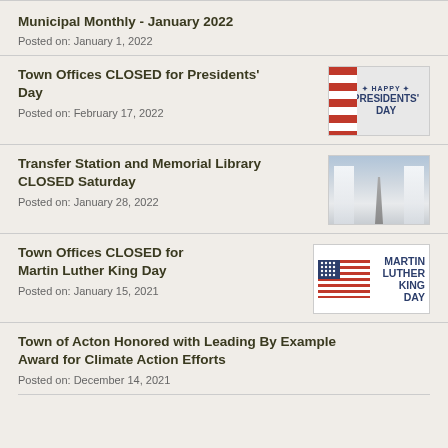Municipal Monthly - January 2022
Posted on: January 1, 2022
Town Offices CLOSED for Presidents' Day
Posted on: February 17, 2022
[Figure (photo): Happy Presidents' Day graphic with American flag and text]
Transfer Station and Memorial Library CLOSED Saturday
Posted on: January 28, 2022
[Figure (photo): Snow-covered winter road through trees]
Town Offices CLOSED for Martin Luther King Day
Posted on: January 15, 2021
[Figure (photo): Martin Luther King Day graphic with American flag]
Town of Acton Honored with Leading By Example Award for Climate Action Efforts
Posted on: December 14, 2021